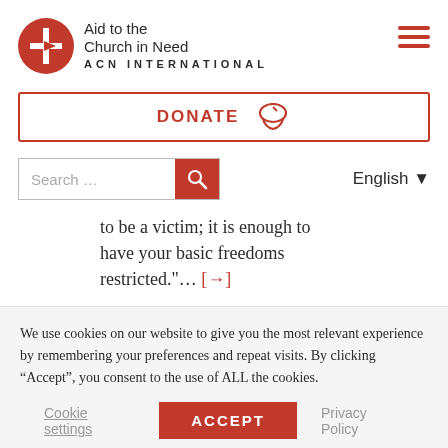[Figure (logo): Aid to the Church in Need (ACN International) logo with red circle containing a cross and arrow, organization name in dark text, and ACN INTERNATIONAL in bold spaced letters]
[Figure (other): Hamburger menu icon with three dark red horizontal bars]
[Figure (other): DONATE button with dark red border, bold red DONATE text and a hat/charity icon in red]
[Figure (other): Search bar with placeholder text 'Search ...' and a red search button with magnifying glass icon, plus English language selector with dropdown arrow]
to be a victim; it is enough to have your basic freedoms restricted."... [→]
We use cookies on our website to give you the most relevant experience by remembering your preferences and repeat visits. By clicking "Accept", you consent to the use of ALL the cookies.
Cookie settings   ACCEPT   Privacy Policy